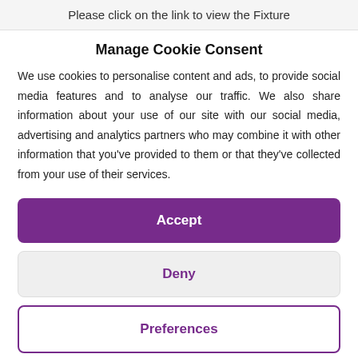Please click on the link to view the Fixture
Manage Cookie Consent
We use cookies to personalise content and ads, to provide social media features and to analyse our traffic. We also share information about your use of our site with our social media, advertising and analytics partners who may combine it with other information that you've provided to them or that they've collected from your use of their services.
Accept
Deny
Preferences